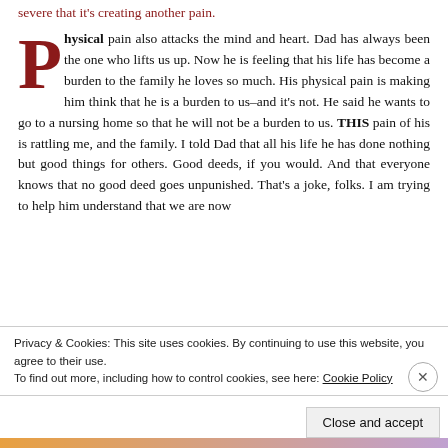severe that it's creating another pain.
Physical pain also attacks the mind and heart. Dad has always been the one who lifts us up. Now he is feeling that his life has become a burden to the family he loves so much. His physical pain is making him think that he is a burden to us–and it's not. He said he wants to go to a nursing home so that he will not be a burden to us. THIS pain of his is rattling me, and the family. I told Dad that all his life he has done nothing but good things for others. Good deeds, if you would. And that everyone knows that no good deed goes unpunished. That's a joke, folks. I am trying to help him understand that we are now
Privacy & Cookies: This site uses cookies. By continuing to use this website, you agree to their use.
To find out more, including how to control cookies, see here: Cookie Policy
Close and accept